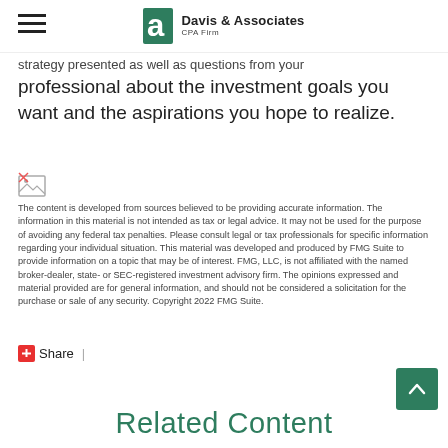Davis & Associates CPA Firm
strategy presented as well as questions from your professional about the investment goals you want and the aspirations you hope to realize.
[Figure (illustration): Broken image placeholder icon]
The content is developed from sources believed to be providing accurate information. The information in this material is not intended as tax or legal advice. It may not be used for the purpose of avoiding any federal tax penalties. Please consult legal or tax professionals for specific information regarding your individual situation. This material was developed and produced by FMG Suite to provide information on a topic that may be of interest. FMG, LLC, is not affiliated with the named broker-dealer, state- or SEC-registered investment advisory firm. The opinions expressed and material provided are for general information, and should not be considered a solicitation for the purchase or sale of any security. Copyright 2022 FMG Suite.
Share |
Related Content